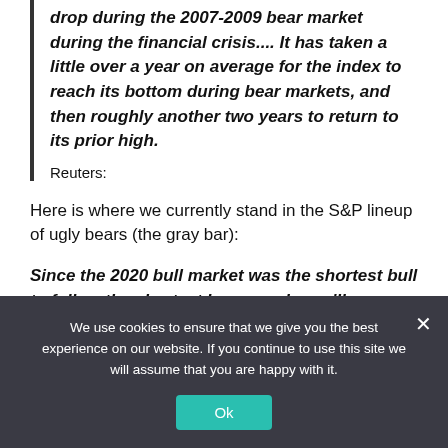drop during the 2007-2009 bear market during the financial crisis.... It has taken a little over a year on average for the index to reach its bottom during bear markets, and then roughly another two years to return to its prior high.
Reuters:
Here is where we currently stand in the S&P lineup of ugly bears (the gray bar):
Since the 2020 bull market was the shortest bull to follow the shortest bear, maybe we'll now finish what started in 2020 and end the generation-long...
We use cookies to ensure that we give you the best experience on our website. If you continue to use this site we will assume that you are happy with it.